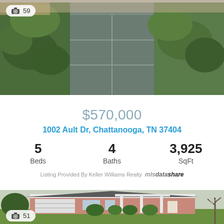[Figure (photo): Exterior driveway/pathway of a brick home with lush green shrubs and trees, view from above looking down the stone walkway]
📷 59
$570,000
1002 Ault Dr, Chattanooga, TN 37404
5 Beds
4 Baths
3,925 SqFt
Listing Provided By Keller Williams Realty mlsdatashare
[Figure (photo): Exterior front view of a single-story brick ranch home with white trim, covered front porch with columns, attached garage, and green lawn]
📷 51